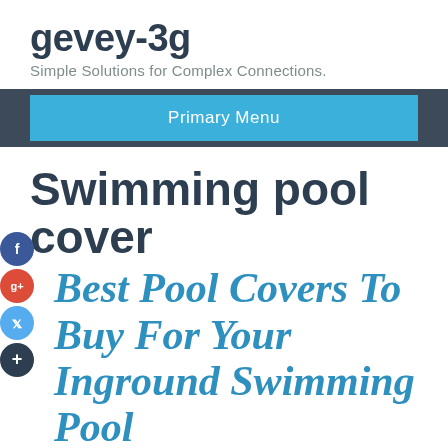gevey-3g
Simple Solutions for Complex Connections.
Primary Menu
Swimming pool cover
Best Pool Covers To Buy For Your Inground Swimming Pool